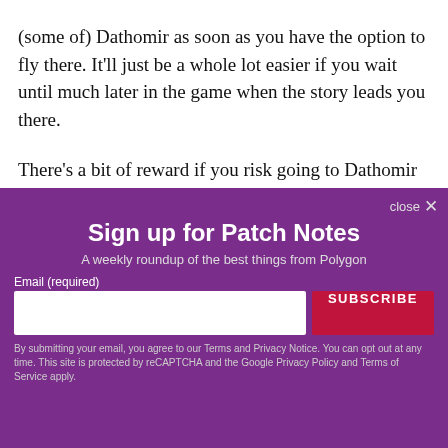(some of) Dathomir as soon as you have the option to fly there. It'll just be a whole lot easier if you wait until much later in the game when the story leads you there.
There's a bit of reward if you risk going to Dathomir
close ×
Sign up for Patch Notes
A weekly roundup of the best things from Polygon
Email (required)
SUBSCRIBE
By submitting your email, you agree to our Terms and Privacy Notice. You can opt out at any time. This site is protected by reCAPTCHA and the Google Privacy Policy and Terms of Service apply.